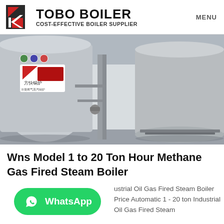TOBO BOILER — COST-EFFECTIVE BOILER SUPPLIER | MENU
[Figure (photo): Industrial boiler room showing two large horizontal cylindrical steam boilers with Chinese branding, piping, and valves in a white-walled facility.]
Wns Model 1 to 20 Ton Hour Methane Gas Fired Steam Boiler
Industrial Oil Gas Fired Steam Boiler Price Automatic 1 - 20 ton Industrial Oil Gas Fired Steam Boiler Price a steam boiler is usually "tons / h" or "t / h" is